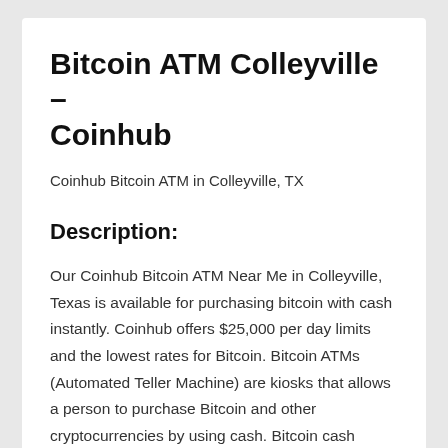Bitcoin ATM Colleyville – Coinhub
Coinhub Bitcoin ATM in Colleyville, TX
Description:
Our Coinhub Bitcoin ATM Near Me in Colleyville, Texas is available for purchasing bitcoin with cash instantly. Coinhub offers $25,000 per day limits and the lowest rates for Bitcoin. Bitcoin ATMs (Automated Teller Machine) are kiosks that allows a person to purchase Bitcoin and other cryptocurrencies by using cash. Bitcoin cash kiosks from Coinhub are a convenient and fast way to purchase Bitcoin and receive it in minutes directly into your wallet. Coinhub Bitcoin machines can